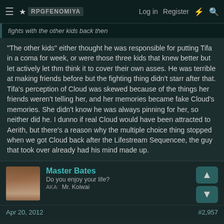≡ [site logo] Log in  Register  ⚡ 🔍
fights with the other kids back then
"The other kids" either thought he was responsible for putting Tifa in a coma for week, or were those three kids that knew better but let actively let thm think it to cover their own asses. He was terrible at making friends before but the fighting thing didn't starr after that. Tifa's perception of Cloud was skewed because of the things her friends weren't telling her, and her memories became fake Cloud's memories. She didn't know he was always pinning for her, so neither did he. I dunno if real Cloud would have been attracted to Aerith, but there's a reason why the multiple choice thing stopped when we got Cloud back after the Lifestream Sequencee, the guy that took over already had his mind made up.
Master Bates
Do you enjoy your life?
AKA: Mr. Koiwai
Apr 20, 2012   #2,957